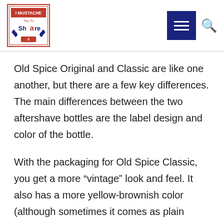I Mustache You To Share — navigation header with logo, menu button, and search icon
Old Spice Original and Classic are like one another, but there are a few key differences. The main differences between the two aftershave bottles are the label design and color of the bottle.
With the packaging for Old Spice Classic, you get a more “vintage” look and feel. It also has a more yellow-brownish color (although sometimes it comes as plain white) which is